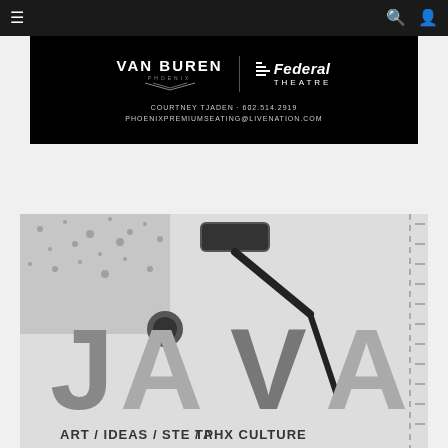Navigation bar with menu, search, and user icons
[Figure (advertisement): Van Buren and Federal Theatre advertisement banner on black background, with contact info: COURTNEY TJADEN · 602.514.2919 / PHOENIXPREMIUMSEATING@LIVENATION.COM]
[Figure (advertisement): JAVA magazine advertisement featuring large bold JAVA text with a paint roller graphic. Tagline: ART / IDEAS / TASTE / PHX CULTURE. Dashed border on right side.]